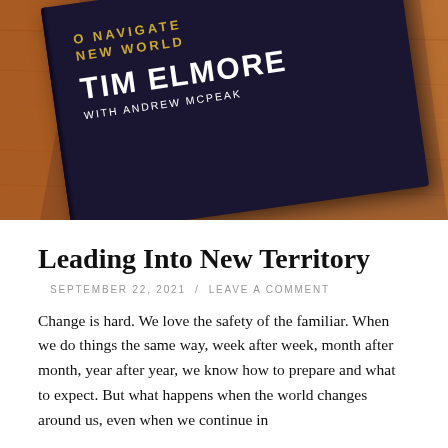[Figure (photo): A photograph of a book cover on a wooden table, tilted at an angle. The book is dark navy/purple with gold and white text reading 'TO NAVIGATE NEW WORLD', 'TIM ELMORE', 'with ANDREW McPEAK'. The table surface is warm brown wood.]
Leading Into New Territory
SEPTEMBER 22, 2021  /  LEAVE A COMMENT
Change is hard. We love the safety of the familiar. When we do things the same way, week after week, month after month, year after year, we know how to prepare and what to expect. But what happens when the world changes around us, even when we continue in